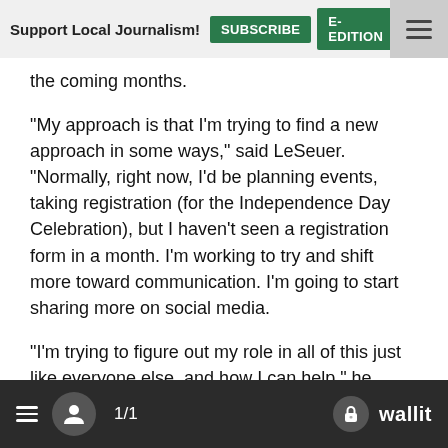Support Local Journalism! SUBSCRIBE E-EDITION NEWSLET
the coming months.
"My approach is that I'm trying to find a new approach in some ways," said LeSeuer. "Normally, right now, I'd be planning events, taking registration (for the Independence Day Celebration), but I haven't seen a registration form in a month. I'm working to try and shift more toward communication. I'm going to start sharing more on social media.
"I'm trying to figure out my role in all of this just like everyone else, and how I can help," he added.
LeSeuer said he wants to be optimistic about things, but events are being canceled, and small businesses in Canby are being hit hard. The events that are being canceled provided a good financial avenue for local businesses downtown, and those that wished to participate downtown. For the immediate future, there's nothing.
≡  👤  1/1   🔒 wallit